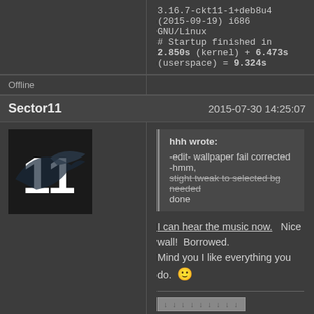3.16.7-ckt11-1+deb8u4 (2015-09-19) i686 GNU/Linux
# Startup finished in 2.850s (kernel) + 6.473s (userspace) = 9.324s
Offline
Sector11   2015-07-30 14:25:07
[Figure (photo): Avatar image with stylized number 11 and jet plane graphic on dark background]
hhh wrote:
-edit- wallpaper fail corrected -hmm, slight tweak to selected bg needed
done
I can hear the music now.   Nice wall!  Borrowed.  Mind you I like everything you do. 🙂
BunsenLabs Forums now Open for Registration
BL ModSquad